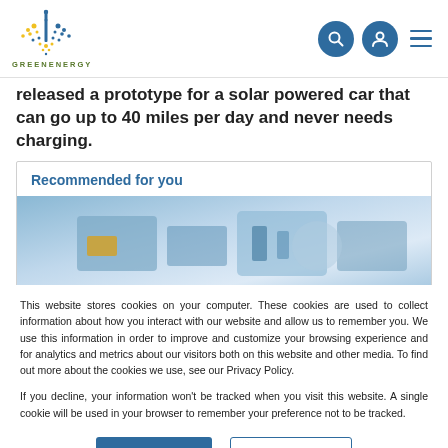GREENENERGY logo and navigation icons
released a prototype for a solar powered car that can go up to 40 miles per day and never needs charging.
Recommended for you
[Figure (photo): Blue-tinted photo of electronic/technology components]
This website stores cookies on your computer. These cookies are used to collect information about how you interact with our website and allow us to remember you. We use this information in order to improve and customize your browsing experience and for analytics and metrics about our visitors both on this website and other media. To find out more about the cookies we use, see our Privacy Policy.
If you decline, your information won't be tracked when you visit this website. A single cookie will be used in your browser to remember your preference not to be tracked.